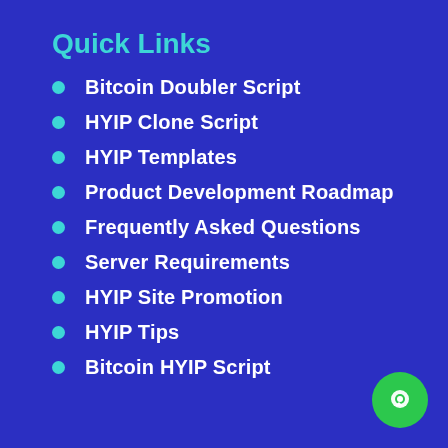Quick Links
Bitcoin Doubler Script
HYIP Clone Script
HYIP Templates
Product Development Roadmap
Frequently Asked Questions
Server Requirements
HYIP Site Promotion
HYIP Tips
Bitcoin HYIP Script
[Figure (illustration): Green circular chat/message button icon in bottom-right corner]